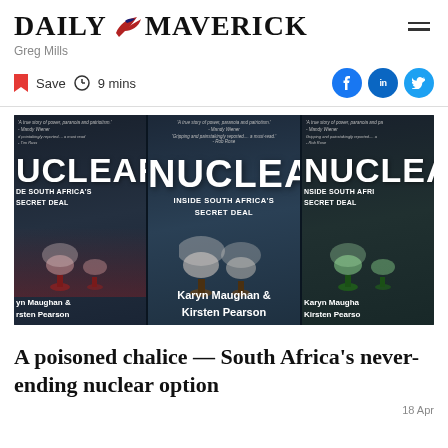DAILY MAVERICK
Greg Mills
Save  9 mins
[Figure (photo): Three copies of the book cover 'Nuclear: Inside South Africa's Secret Deal' by Karyn Maughan & Kirsten Pearson, shown side by side with chess piece smoke imagery]
A poisoned chalice — South Africa's never-ending nuclear option
18 Apr